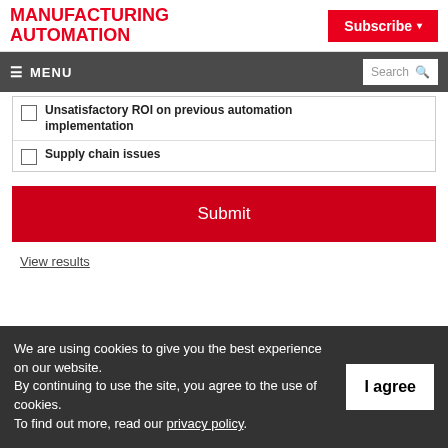MANUFACTURING AUTOMATION
Subscribe
MENU  Search
Unsatisfactory ROI on previous automation implementation
Supply chain issues
Submit
View results
We are using cookies to give you the best experience on our website. By continuing to use the site, you agree to the use of cookies. To find out more, read our privacy policy.
I agree